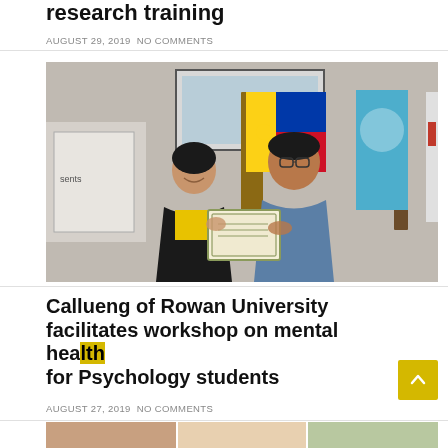research training
AUGUST 29, 2019  NO COMMENTS
[Figure (photo): Two people standing together holding a certificate, Philippine flag and teal university flag visible in background, presentation screen visible]
Callueng of Rowan University facilitates workshop on mental health for Psychology students
AUGUST 27, 2019  NO COMMENTS